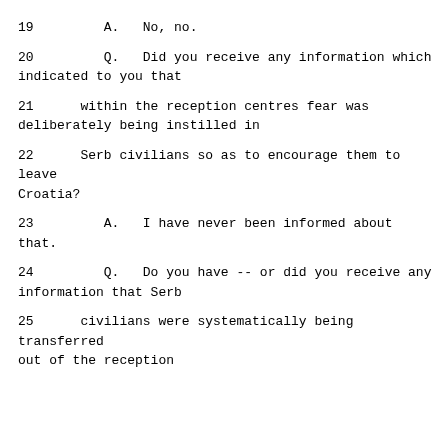19         A.   No, no.
20         Q.   Did you receive any information which
indicated to you that
21      within the reception centres fear was
deliberately being instilled in
22      Serb civilians so as to encourage them to leave
Croatia?
23         A.   I have never been informed about that.
24         Q.   Do you have -- or did you receive any
information that Serb
25      civilians were systematically being transferred
out of the reception